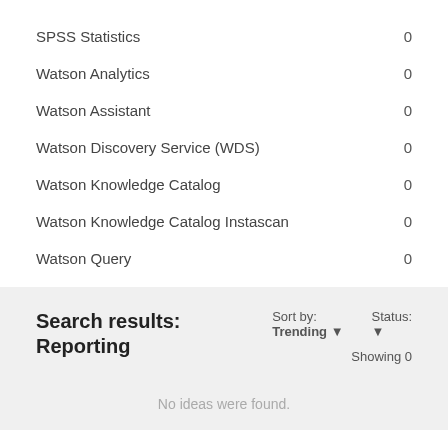SPSS Statistics   0
Watson Analytics   0
Watson Assistant   0
Watson Discovery Service (WDS)   0
Watson Knowledge Catalog   0
Watson Knowledge Catalog Instascan   0
Watson Query   0
Search results: Reporting
Sort by: Trending ▼
Status: ▼
Showing 0
No ideas were found.